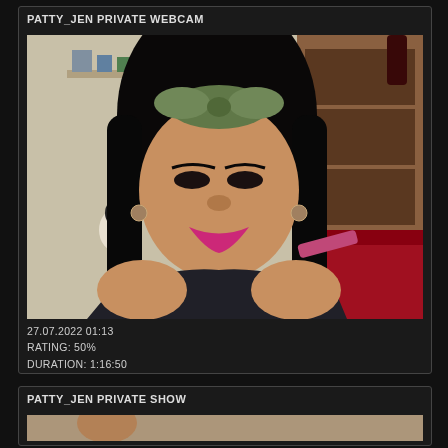PATTY_JEN PRIVATE WEBCAM
[Figure (photo): Webcam screenshot of a woman with long black hair, green polka-dot headband bow, pink lipstick, wearing a dark tank top. Background shows a light-colored room with shelves, a bookcase, and red bedding on the right side. Timestamp overlay visible.]
27.07.2022 01:13
RATING: 50%
DURATION: 1:16:50
PATTY_JEN PRIVATE SHOW
[Figure (photo): Partial webcam screenshot at bottom of page, cropped.]